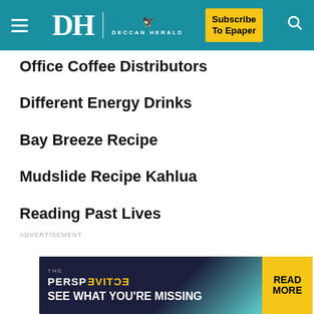DH Deccan Herald — Subscribe To Epaper
Office Coffee Distributors
Different Energy Drinks
Bay Breeze Recipe
Mudslide Recipe Kahlua
Reading Past Lives
ADVERTISEMENT
[Figure (other): The Perspective advertisement banner: 'SEE WHAT YOU'RE MISSING' with READ MORE button in yellow]